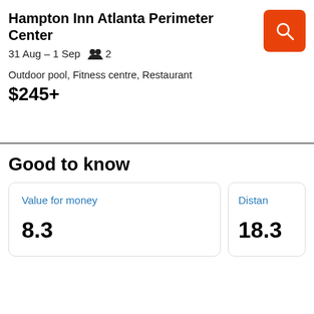Hampton Inn Atlanta Perimeter Center
31 Aug – 1 Sep   2
Outdoor pool, Fitness centre, Restaurant
$245+
Good to know
Value for money
8.3
Distan
18.3